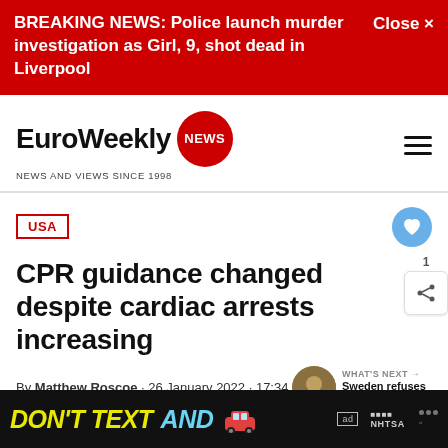BREAKING NEWS: Police launch murder investigation as Girl, 9, shot dead in Liverpool  Close ×
[Figure (logo): EuroWeekly NEWS logo with red circular NEWS badge and tagline NEWS AND VIEWS SINCE 1998]
USA
CPR guidance changed despite cardiac arrests increasing
By Matthew Roscoe · 26 January 2022 · 17:34
WHAT'S NEXT → Sweden refuses to...
[Figure (photo): Partial photo of a person in orange hi-vis vest, likely paramedic or emergency worker]
DON'T TEXT AND [car emoji] ad NHTSA